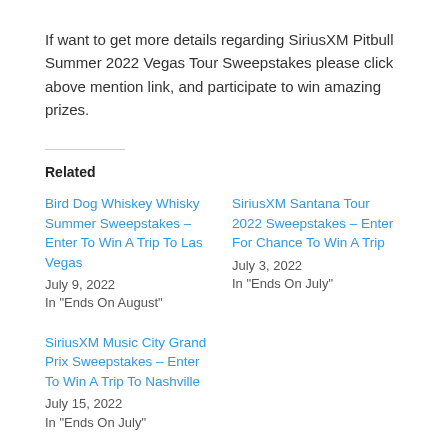If want to get more details regarding SiriusXM Pitbull Summer 2022 Vegas Tour Sweepstakes please click above mention link, and participate to win amazing prizes.
Related
Bird Dog Whiskey Whisky Summer Sweepstakes – Enter To Win A Trip To Las Vegas
July 9, 2022
In "Ends On August"
SiriusXM Santana Tour 2022 Sweepstakes – Enter For Chance To Win A Trip
July 3, 2022
In "Ends On July"
SiriusXM Music City Grand Prix Sweepstakes – Enter To Win A Trip To Nashville
July 15, 2022
In "Ends On July"